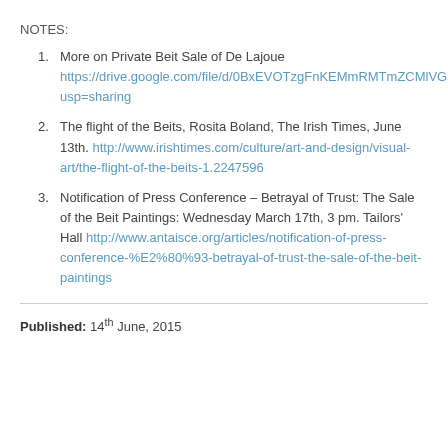NOTES:
More on Private Beit Sale of De Lajoue https://drive.google.com/file/d/0BxEVOTzgFnKEMmRMTmZCMlVGaDA/view?usp=sharing
The flight of the Beits, Rosita Boland, The Irish Times, June 13th. http://www.irishtimes.com/culture/art-and-design/visual-art/the-flight-of-the-beits-1.2247596
Notification of Press Conference – Betrayal of Trust: The Sale of the Beit Paintings: Wednesday March 17th, 3 pm. Tailors' Hall http://www.antaisce.org/articles/notification-of-press-conference-%E2%80%93-betrayal-of-trust-the-sale-of-the-beit-paintings
Published: 14th June, 2015